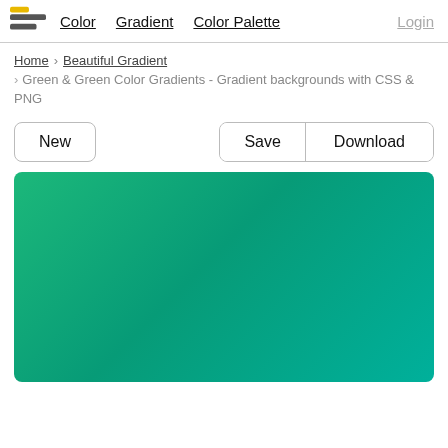Color | Gradient | Color Palette | Login
Home > Beautiful Gradient > Green & Green Color Gradients - Gradient backgrounds with CSS & PNG
New | Save | Download
[Figure (illustration): Green to teal color gradient preview rectangle with rounded corners, gradient going from green top-left to teal bottom-right]